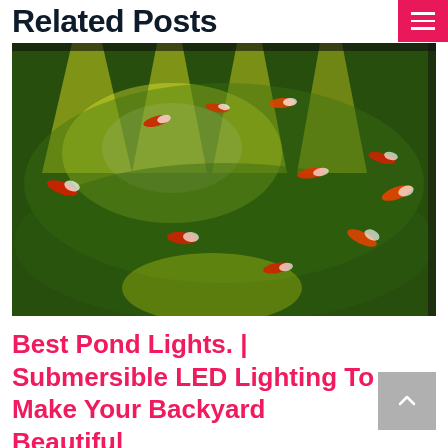Related Posts
[Figure (photo): Aerial view of a koi pond at night with bright yellow-green underwater lights illuminating the water surface. Multiple red and white koi fish are visible swimming in the glowing green water.]
Best Pond Lights. | Submersible LED Lighting To Make Your Backyard Beautiful